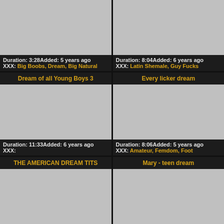[Figure (screenshot): Top-left video card partial view with gray thumbnail, duration 3:28, added 5 years ago, tags: Big Boobs, Dream, Big Natural]
[Figure (screenshot): Top-right video card partial view with gray thumbnail, duration 8:04, added 6 years ago, tags: Latin Shemale, Guy Fucks]
Dream of all Young Boys 3
[Figure (screenshot): Middle-left video thumbnail gray placeholder]
Duration: 11:33Added: 6 years ago
XXX:
Every licker dream
[Figure (screenshot): Middle-right video thumbnail gray placeholder]
Duration: 8:06Added: 5 years ago
XXX: Amateur, Femdom, Foot
THE AMERICAN DREAM TITS
[Figure (screenshot): Bottom-left video thumbnail gray placeholder partial]
Mary - teen dream
[Figure (screenshot): Bottom-right video thumbnail gray placeholder partial]